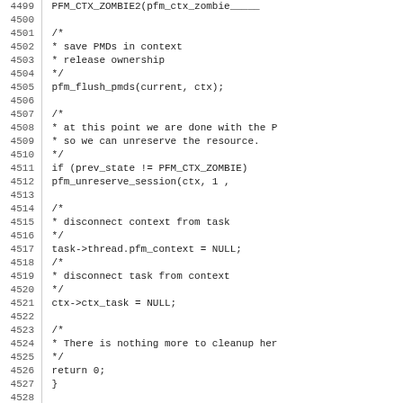Source code listing, lines 4500-4531, showing C code for pfm context cleanup including pfm_flush_pmds, pfm_unreserve_session, disconnecting context from task, and per-task mode comment.